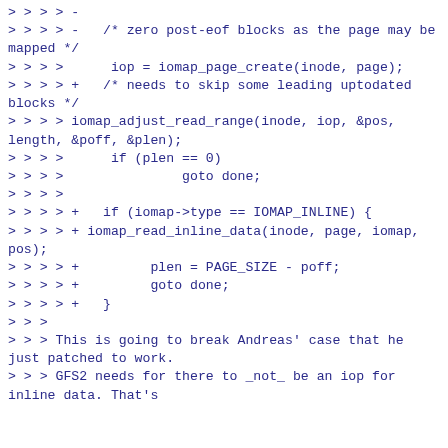> > > > -
> > > > -   /* zero post-eof blocks as the page may be mapped */
> > > >      iop = iomap_page_create(inode, page);
> > > > +   /* needs to skip some leading uptodated blocks */
> > > > iomap_adjust_read_range(inode, iop, &pos, length, &poff, &plen);
> > > >      if (plen == 0)
> > > >               goto done;
> > > >
> > > > +   if (iomap->type == IOMAP_INLINE) {
> > > > + iomap_read_inline_data(inode, page, iomap, pos);
> > > > +         plen = PAGE_SIZE - poff;
> > > > +         goto done;
> > > > +   }
> > >
> > > This is going to break Andreas' case that he just patched to work.
> > > GFS2 needs for there to _not_ be an iop for inline data. That's